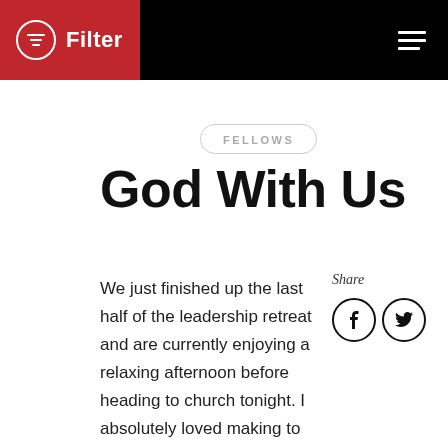Filter | FELLOWS
FELLOWS
God With Us
We just finished up the last half of the leadership retreat and are currently enjoying a relaxing afternoon before heading to church tonight. I absolutely loved making to friendships with students here who are hungry for the Lord. It
Share